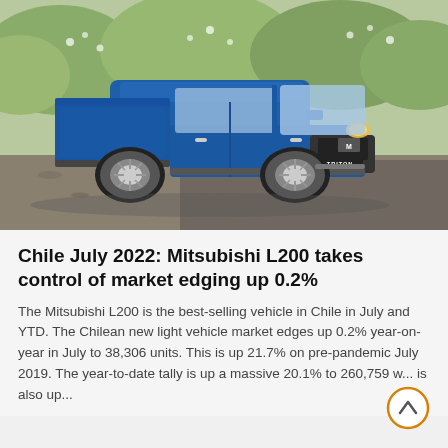[Figure (photo): Blue Mitsubishi Triton L200 pickup truck parked on a gravel surface with green foliage in the background.]
Chile July 2022: Mitsubishi L200 takes control of market edging up 0.2%
The Mitsubishi L200 is the best-selling vehicle in Chile in July and YTD. The Chilean new light vehicle market edges up 0.2% year-on-year in July to 38,306 units. This is up 21.7% on pre-pandemic July 2019. The year-to-date tally is up a massive 20.1% to 260,759 w... is also up...